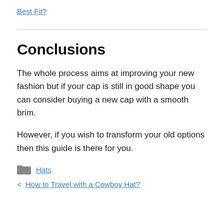Best Fit?
Conclusions
The whole process aims at improving your new fashion but if your cap is still in good shape you can consider buying a new cap with a smooth brim.
However, if you wish to transform your old options then this guide is there for you.
Hats
< How to Travel with a Cowboy Hat?